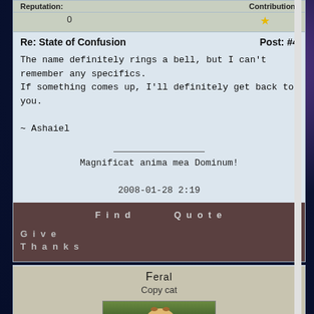Reputation: 0   Contribution: ★
Re: State of Confusion   Post: #4
The name definitely rings a bell, but I can't remember any specifics.
If something comes up, I'll definitely get back to you.

~ Ashaiel

Magnificat anima mea Dominum!

2008-01-28 2:19
Find   Quote   Give Thanks
Feral
Copy cat
[Figure (photo): Photo of a lioness or large feline sitting, looking upward, brown/tawny coloring, outdoors background]
Kintype:   Gender: